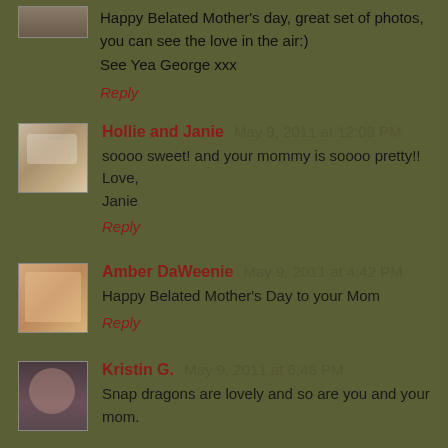Happy Belated Mother's day, great set of photos, you can see the love in the air:)
See Yea George xxx
Reply
Hollie and Janie  May 9, 2011 at 12:08 PM
soooo sweet! and your mommy is soooo pretty!!
Love,
Janie
Reply
Amber DaWeenie  May 9, 2011 at 4:42 PM
Happy Belated Mother's Day to your Mom
Reply
Kristin G.  May 9, 2011 at 6:48 PM
Snap dragons are lovely and so are you and your mom.